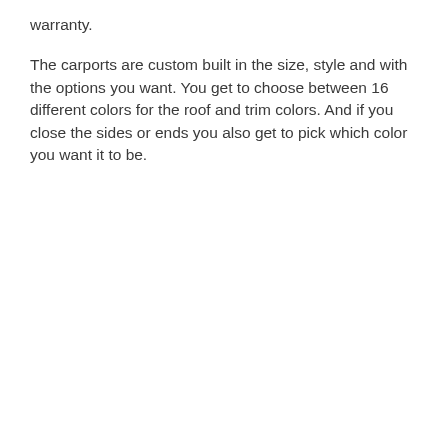warranty.
The carports are custom built in the size, style and with the options you want. You get to choose between 16 different colors for the roof and trim colors. And if you close the sides or ends you also get to pick which color you want it to be.